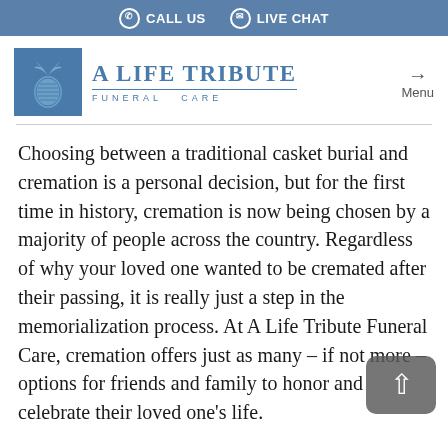CALL US   LIVE CHAT
[Figure (logo): A Life Tribute Funeral Care logo with pineapple emblem in blue square and stylized text]
Choosing between a traditional casket burial and cremation is a personal decision, but for the first time in history, cremation is now being chosen by a majority of people across the country. Regardless of why your loved one wanted to be cremated after their passing, it is really just a step in the memorialization process. At A Life Tribute Funeral Care, cremation offers just as many – if not more – options for friends and family to honor and celebrate their loved one's life.